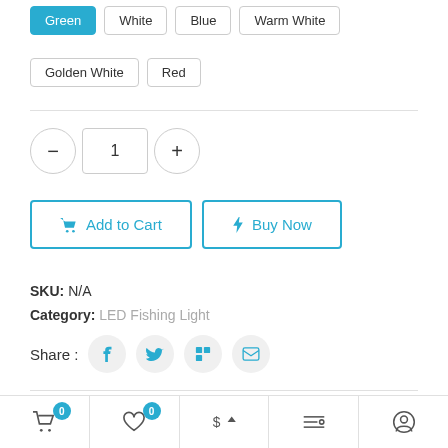Green (selected), White, Blue, Warm White, Golden White, Red
1 (quantity)
Add to Cart | Buy Now
SKU: N/A
Category: LED Fishing Light
Share: [Facebook] [Twitter] [LinkedIn] [Email]
Shop on Plateforms: [Amazon] [Aliexpress]